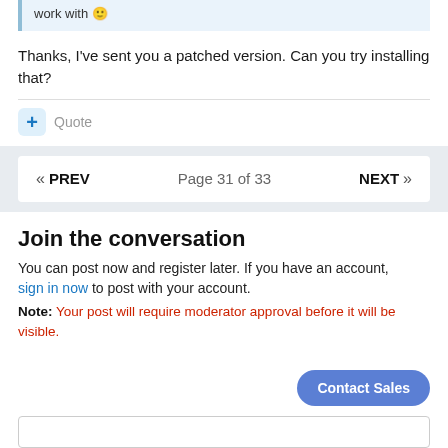work with 🙂
Thanks, I've sent you a patched version. Can you try installing that?
+ Quote
« PREV  Page 31 of 33  NEXT »
Join the conversation
You can post now and register later. If you have an account, sign in now to post with your account.
Note: Your post will require moderator approval before it will be visible.